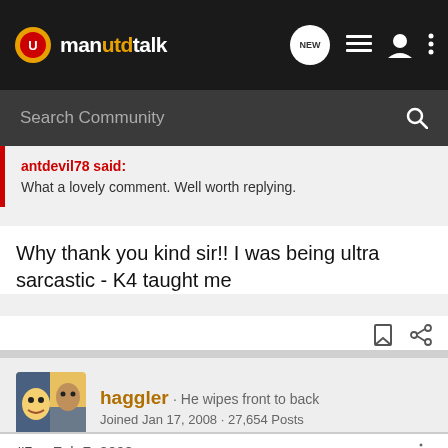manutdtalk
Search Community
antdevil78 said:
What a lovely comment. Well worth replying.
Why thank you kind sir!! I was being ultra sarcastic - K4 taught me
haggler · He wipes front to back
Joined Jan 17, 2008 · 27,654 Posts
#5 · Feb 7, 2008